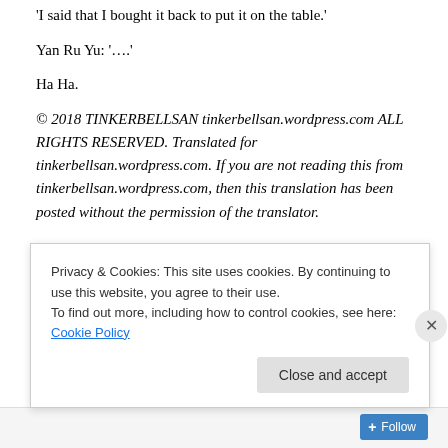'I said that I bought it back to put it on the table.'
Yan Ru Yu: '….'
Ha Ha.
© 2018 TINKERBELLSAN tinkerbellsan.wordpress.com ALL RIGHTS RESERVED. Translated for tinkerbellsan.wordpress.com. If you are not reading this from tinkerbellsan.wordpress.com, then this translation has been posted without the permission of the translator.
Lan Ning observed his face, smiled and said: 'If no one is
Privacy & Cookies: This site uses cookies. By continuing to use this website, you agree to their use.
To find out more, including how to control cookies, see here: Cookie Policy
Close and accept